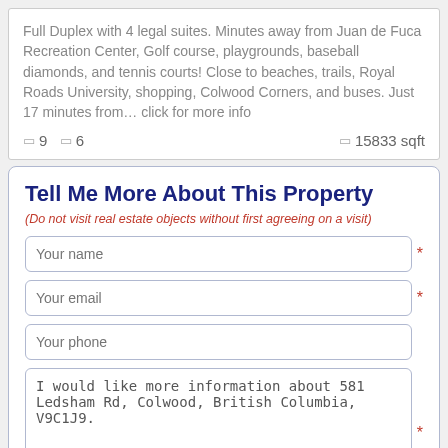Full Duplex with 4 legal suites. Minutes away from Juan de Fuca Recreation Center, Golf course, playgrounds, baseball diamonds, and tennis courts! Close to beaches, trails, Royal Roads University, shopping, Colwood Corners, and buses. Just 17 minutes from… click for more info
🛏 9  🛁 6  □ 15833 sqft
Tell Me More About This Property
(Do not visit real estate objects without first agreeing on a visit)
Your name
Your email
Your phone
I would like more information about 581 Ledsham Rd, Colwood, British Columbia, V9C1J9.